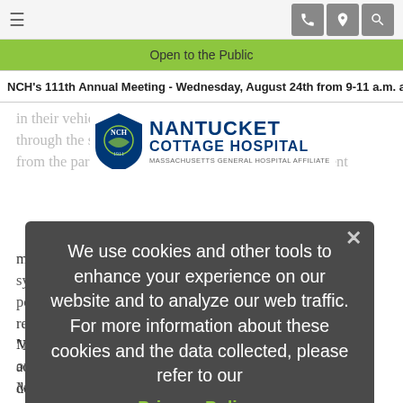Open to the Public
NCH's 111th Annual Meeting - Wednesday, August 24th from 9-11 a.m. at Th
[Figure (logo): Nantucket Cottage Hospital logo with shield and Massachusetts General Hospital Affiliate text]
in their vehicle ... enter in through the s... ng the signs from the parking lo... to schedule an appointment members of the public exhibiting COVID-19 sympt... VID-19 posit... individual should call (508) 825-1000 and request COVID-19 testing. Phone lines are open Monday through Friday, 7:00 a.m. to 5:30 p.m., tests on Saturday should be scheduled during the Monday... and the testing center is closed on Sundays.
We use cookies and other tools to enhance your experience on our website and to analyze our web traffic. For more information about these cookies and the data collected, please refer to our Privacy Policy.
“Nantucket Cottage Hospital will continue to respond and adapt to the needs of the community as this situation develops,” said James Lanza, Public